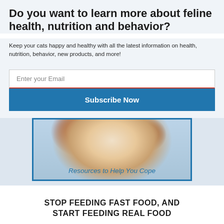Do you want to learn more about feline health, nutrition and behavior?
Keep your cats happy and healthy with all the latest information on health, nutrition, behavior, new products, and more!
Enter your Email
Subscribe Now
[Figure (photo): A close-up photo of a cat's face (orange and white fur) behind a blue-bordered frame with the text 'Resources to Help You Cope']
Resources to Help You Cope
STOP FEEDING FAST FOOD, AND START FEEDING REAL FOOD
BALANCED,